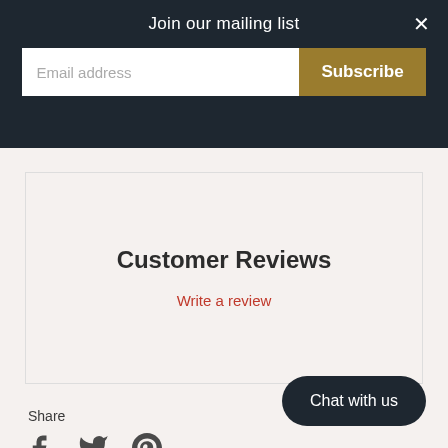Join our mailing list
Email address
Subscribe
Customer Reviews
Write a review
Share
[Figure (other): Social share icons: Facebook (f), Twitter (bird), Pinterest (P)]
Chat with us